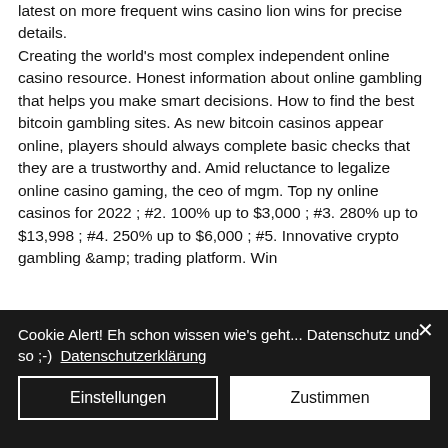latest on more frequent wins casino lion wins for precise details. Creating the world's most complex independent online casino resource. Honest information about online gambling that helps you make smart decisions. How to find the best bitcoin gambling sites. As new bitcoin casinos appear online, players should always complete basic checks that they are a trustworthy and. Amid reluctance to legalize online casino gaming, the ceo of mgm. Top ny online casinos for 2022 ; #2. 100% up to $3,000 ; #3. 280% up to $13,998 ; #4. 250% up to $6,000 ; #5. Innovative crypto gambling &amp; trading platform. Win
Cookie Alert! Eh schon wissen wie's geht... Datenschutz und so ;-)  Datenschutzerklärung
Einstellungen
Zustimmen